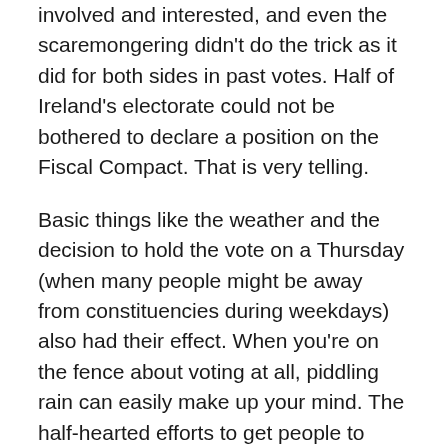involved and interested, and even the scaremongering didn't do the trick as it did for both sides in past votes. Half of Ireland's electorate could not be bothered to declare a position on the Fiscal Compact. That is very telling.
Basic things like the weather and the decision to hold the vote on a Thursday (when many people might be away from constituencies during weekdays) also had their effect. When you're on the fence about voting at all, piddling rain can easily make up your mind. The half-hearted efforts to get people to vote, undertaken for the most part on the day itself, were not enough. You could just feel it, the malaise that was evident. Only part of the Irish electorate truly cared about the Fiscal Compact, and they made up their minds a while ago. The rest were too confused, too lethargic, too nonplussed to get involved.